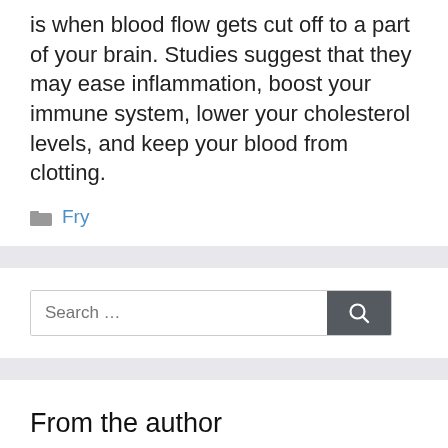is when blood flow gets cut off to a part of your brain. Studies suggest that they may ease inflammation, boost your immune system, lower your cholesterol levels, and keep your blood from clotting.
Fry
Search ...
From the author